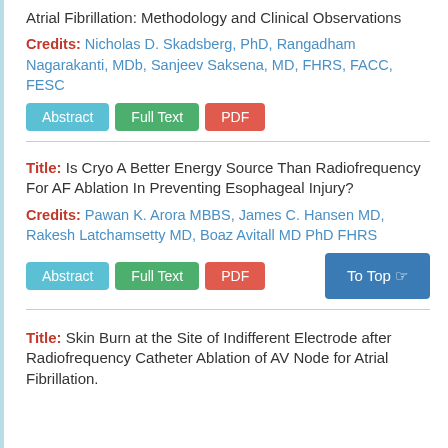Atrial Fibrillation: Methodology and Clinical Observations
Credits: Nicholas D. Skadsberg, PhD, Rangadham Nagarakanti, MDb, Sanjeev Saksena, MD, FHRS, FACC, FESC
Abstract | Full Text | PDF
Title: Is Cryo A Better Energy Source Than Radiofrequency For AF Ablation In Preventing Esophageal Injury?
Credits: Pawan K. Arora MBBS, James C. Hansen MD, Rakesh Latchamsetty MD, Boaz Avitall MD PhD FHRS
Abstract | Full Text | PDF | To Top
Title: Skin Burn at the Site of Indifferent Electrode after Radiofrequency Catheter Ablation of AV Node for Atrial Fibrillation.